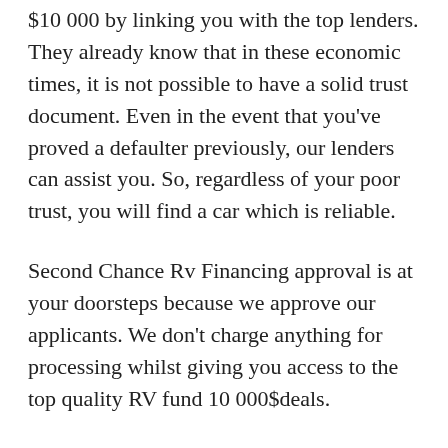$10 000 by linking you with the top lenders. They already know that in these economic times, it is not possible to have a solid trust document. Even in the event that you've proved a defaulter previously, our lenders can assist you. So, regardless of your poor trust, you will find a car which is reliable.
Second Chance Rv Financing approval is at your doorsteps because we approve our applicants. We don't charge anything for processing whilst giving you access to the top quality RV fund 10 000$deals.
Your trust score can't come in the way of securing a mortgage for a new RV. For us, it barely matters what your financial position is, and where you stand with several other lenders on the marketplace. We're here to supply you a plethora of bad credit RV mortgage or no credit check rvs available with just a simple online